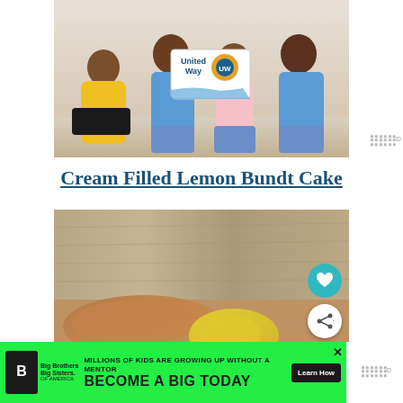[Figure (photo): Four smiling people sitting together with United Way logo overlay]
Cream Filled Lemon Bundt Cake
[Figure (photo): Close-up blurred photo of lemon bundt cake with heart and share buttons]
[Figure (advertisement): Big Brothers Big Sisters ad: MILLIONS OF KIDS ARE GROWING UP WITHOUT A MENTOR. BECOME A BIG TODAY. Learn How]